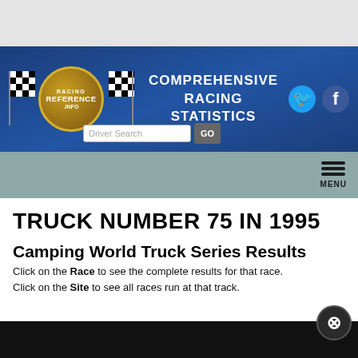[Figure (logo): Racing Reference .info website banner with logo, checkered flags, 'COMPREHENSIVE RACING STATISTICS' text, driver search box, Twitter and Facebook icons]
TRUCK NUMBER 75 IN 1995
Camping World Truck Series Results
Click on the Race to see the complete results for that race. Click on the Site to see all races run at that track.
Glossary